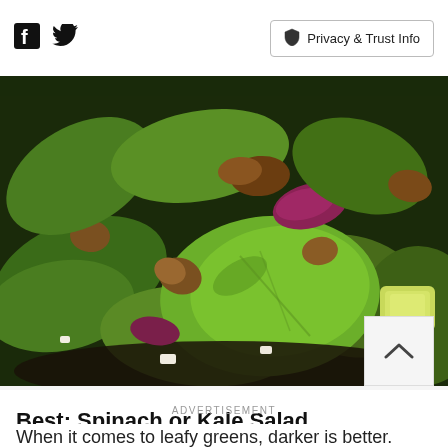Facebook Twitter | Privacy & Trust Info
[Figure (photo): Close-up photo of a spinach or kale salad with red onion, walnuts, avocado, and feta cheese on a dark plate]
Best: Spinach or Kale Salad
When it comes to leafy greens, darker is better. They have the most nutrients. Case in point: Kale and spin have over 10 times more immune-boosting vitamins A
ADVERTISEMENT